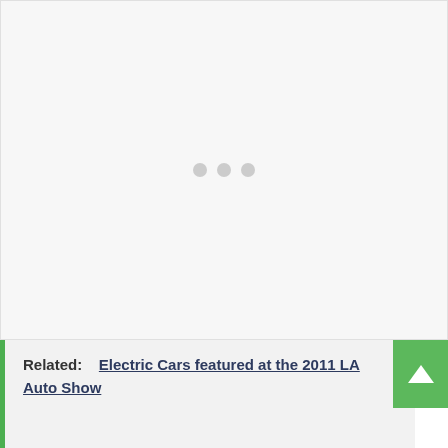[Figure (other): Large mostly blank/loading area with three light gray dots in the center indicating a loading spinner or placeholder image]
Related:   Electric Cars featured at the 2011 LA Auto Show